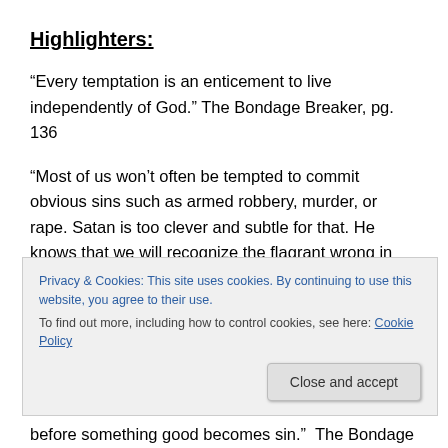Highlighters:
“Every temptation is an enticement to live independently of God.” The Bondage Breaker, pg. 136
“Most of us won’t often be tempted to commit obvious sins such as armed robbery, murder, or rape. Satan is too clever and subtle for that. He knows that we will recognize the flagrant wrong in such temptations and refuse to act on them. Instead, his tactic is to entice us to push something good beyond the boundary of the will of God
Privacy & Cookies: This site uses cookies. By continuing to use this website, you agree to their use.
To find out more, including how to control cookies, see here: Cookie Policy
before something good becomes sin.”  The Bondage